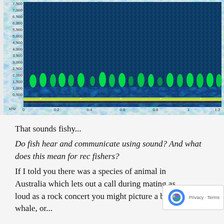[Figure (continuous-plot): Spectrogram showing frequency (kHz) on y-axis from 0.500 to 7.500+ kHz and time on x-axis from 0 to 1.2+. Dense blue-green noise background with bright green vertical pulse-like patterns repeating across 1.0-2.0 kHz range. A bright yellow-green horizontal band appears at the very bottom (~0 kHz). Y-axis labels: 7,500, 7,000, 6,500, 6,000, 5,500, 5,000, 4,500, 4,000, 3,500, 3,000, 2,500, 2,000, 1,500, 1,000, 0,500. X-axis labels: 0, 0.2, 0.4, 0.6, 0.8, 1, 1.2. Unit label: kHz.]
That sounds fishy...
Do fish hear and communicate using sound? And what does this mean for rec fishers?
If I told you there was a species of animal in Australia which lets out a call during mating as loud as a rock concert you might picture a blue whale, or...